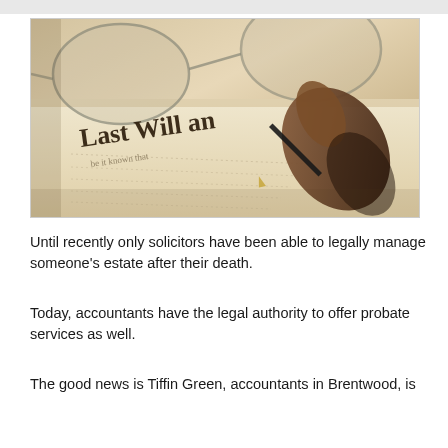[Figure (photo): Close-up photo of a 'Last Will and Testament' document being signed with a fountain pen, with glasses resting on the document in the background. Warm sepia-toned lighting.]
Until recently only solicitors have been able to legally manage someone's estate after their death.
Today, accountants have the legal authority to offer probate services as well.
The good news is Tiffin Green, accountants in Brentwood, is